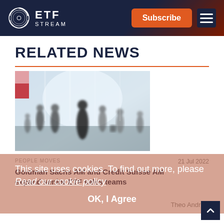ETF STREAM
RELATED NEWS
[Figure (photo): Blurred crowd of people walking through a large bright lobby or exhibition hall]
PEOPLE MOVES
21 Jul 2022
Goldman Sachs AM and Credit Suisse AM expand senior ETF sales teams
This site uses cookies. To find out more, please Read our cookie policy
OK, I Agree
Theo Andrew